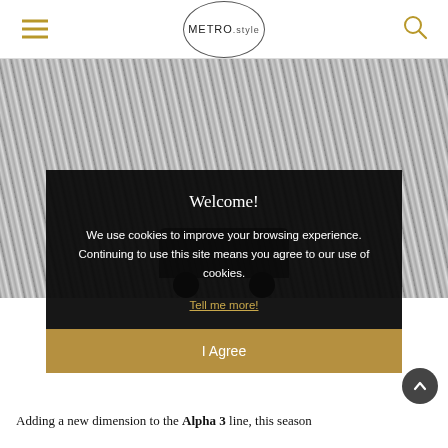METRO.style
[Figure (photo): A suitcase with ribbed silver/grey texture shown against a dark background, with black wheels visible at the bottom.]
Welcome!

We use cookies to improve your browsing experience. Continuing to use this site means you agree to our use of cookies.

Tell me more!

I Agree
Adding a new dimension to the Alpha 3 line, this season